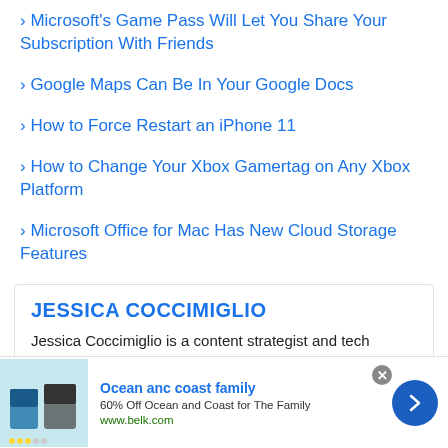› Microsoft's Game Pass Will Let You Share Your Subscription With Friends
› Google Maps Can Be In Your Google Docs
› How to Force Restart an iPhone 11
› How to Change Your Xbox Gamertag on Any Xbox Platform
› Microsoft Office for Mac Has New Cloud Storage Features
JESSICA COCCIMIGLIO
Jessica Coccimiglio is a content strategist and tech journalist with experience at Techmeme and MakeUseOf. She's an amateur maker with a passion for
Ocean anc coast family
60% Off Ocean and Coast for The Family
www.belk.com